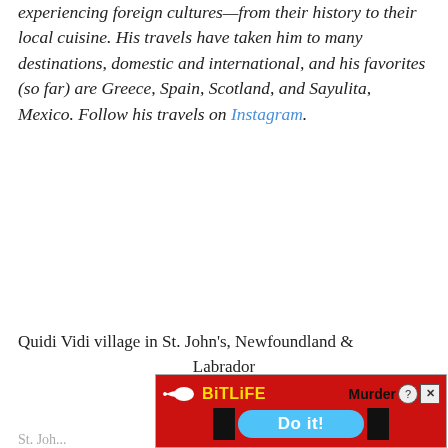experiencing foreign cultures—from their history to their local cuisine. His travels have taken him to many destinations, domestic and international, and his favorites (so far) are Greece, Spain, Scotland, and Sayulita, Mexico. Follow his travels on Instagram.
Quidi Vidi village in St. John's, Newfoundland & Labrador
[Figure (screenshot): BitLife advertisement banner with red background, logo, Murder text, and Do it! blue button]
St. John...